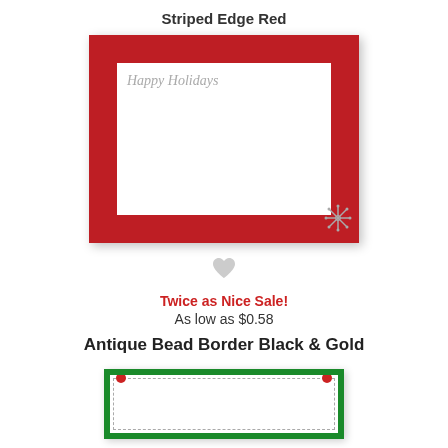Striped Edge Red
[Figure (illustration): A holiday card with a thick red border. Inside the card, cursive text reads 'Happy Holidays' in gray. A small snowflake decoration appears in the lower right corner of the card interior.]
[Figure (illustration): A gray heart icon (favorite/wishlist button)]
Twice as Nice Sale!
As low as $0.58
Antique Bead Border Black & Gold
[Figure (illustration): Bottom portion of a holiday card with a green border visible, with small red dot decorations in the upper corners.]